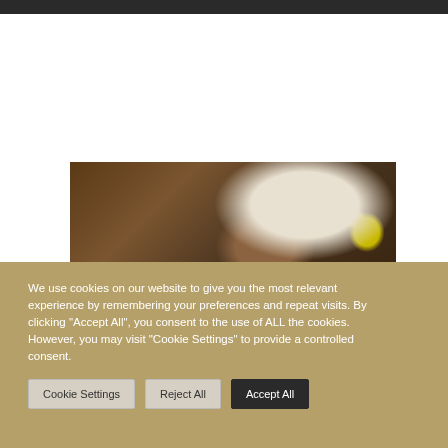[Figure (photo): Worker wearing white hard hat and yellow ear muffs, leaning over to work on a wooden structure or wall, viewed from above/side angle]
We use cookies on our website to give you the most relevant experience by remembering your preferences and repeat visits. By clicking "Accept All", you consent to the use of ALL the cookies. However, you may visit "Cookie Settings" to provide a controlled consent.
Cookie Settings | Reject All | Accept All